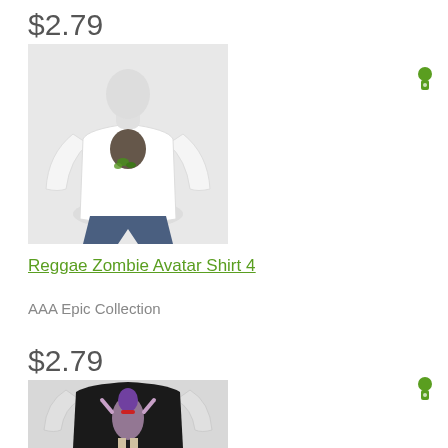$2.79
[Figure (photo): 3D mannequin wearing a white t-shirt with a zombie face graphic on the chest, paired with jeans. Product image for Reggae Zombie Avatar Shirt 4.]
Reggae Zombie Avatar Shirt 4
AAA Epic Collection
$2.79
[Figure (photo): 3D mannequin wearing a black t-shirt with an anime character graphic, shown from the waist up.]